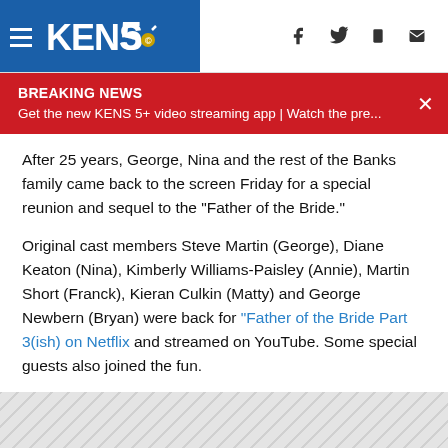KENS5
BREAKING NEWS
Get the new KENS 5+ video streaming app | Watch the pre...
After 25 years, George, Nina and the rest of the Banks family came back to the screen Friday for a special reunion and sequel to the "Father of the Bride."
Original cast members Steve Martin (George), Diane Keaton (Nina), Kimberly Williams-Paisley (Annie), Martin Short (Franck), Kieran Culkin (Matty) and George Newbern (Bryan) were back for "Father of the Bride Part 3(ish) on Netflix" and streamed on YouTube. Some special guests also joined the fun.
[Figure (photo): Gray diagonal striped placeholder for an embedded video or image]
The extended Banks family is Zooming from quarantine,